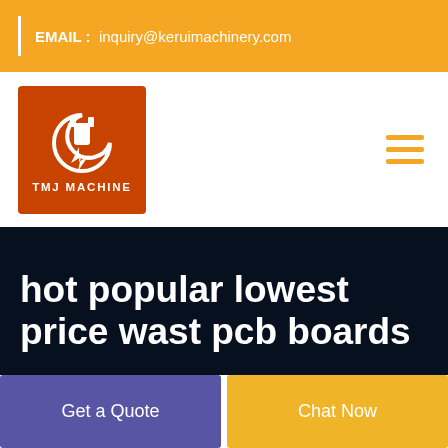EMAIL : inquiry@keruimachinery.com
[Figure (logo): TMJ Machine logo — orange square with white plug/lightning bolt icon and text 'TMJ MACHINE']
hot popular lowest price wast pcb boards
Get a Quote
Chat Now